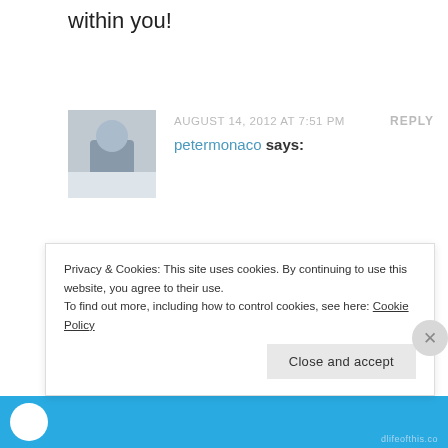within you!
AUGUST 14, 2012 AT 7:51 PM   REPLY
petermonaco says:
I feel like some of my best novel ideas have come from dreams. However, my middle-of-the-night self is illiterate. I've tried so many times and very rarely am I able to understand what's on the paper. I so wish I could have a new “night self”. Dreams are a gold mine
Privacy & Cookies: This site uses cookies. By continuing to use this website, you agree to their use.
To find out more, including how to control cookies, see here: Cookie Policy
Close and accept